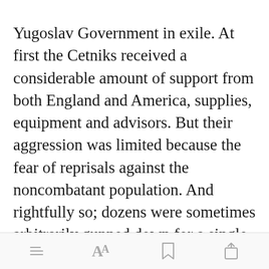Yugoslav Government in exile. At first the Cetniks received a considerable amount of support from both England and America, supplies, equipment and advisors. But their aggression was limited because the fear of reprisals against the noncombatant population. And rightfully so; dozens were sometimes arbitrarily gunned down for a single inc[Open in app]
[Figure (screenshot): Mobile app bottom navigation bar with icons for menu (three lines), font size (Aa), bookmark, and share]